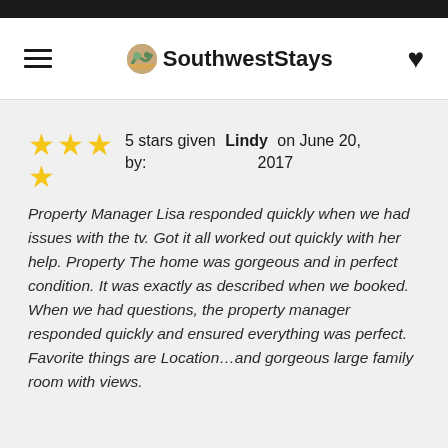SouthwestStays
5 stars given by: Lindy on June 20, 2017
Property Manager Lisa responded quickly when we had issues with the tv. Got it all worked out quickly with her help. Property The home was gorgeous and in perfect condition. It was exactly as described when we booked. When we had questions, the property manager responded quickly and ensured everything was perfect. Favorite things are Location...and gorgeous large family room with views.